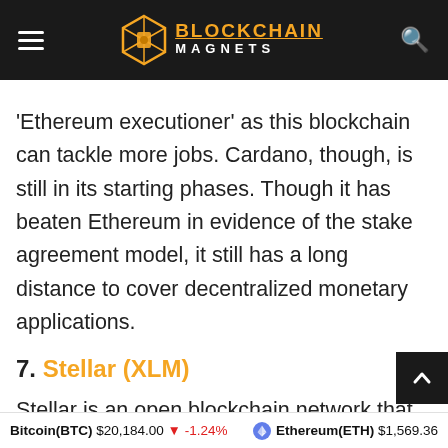BLOCKCHAIN MAGNETS
'Ethereum executioner' as this blockchain can tackle more jobs. Cardano, though, is still in its starting phases. Though it has beaten Ethereum in evidence of the stake agreement model, it still has a long distance to cover decentralized monetary applications.
7. Stellar (XLM)
Stellar is an open blockchain network that was made to give endeavor arrangements by providing monetary foundations the end goal of
Bitcoin(BTC) $20,184.00 ↓ -1.24%   Ethereum(ETH) $1,569.36